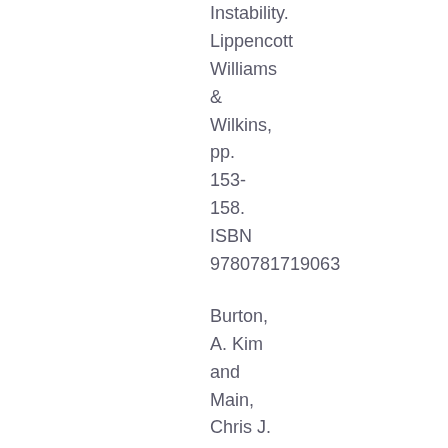Instability. Lippencott Williams & Wilkins, pp. 153-158. ISBN 9780781719063
Burton, A. Kim and Main, Chris J. (2012) Engaging patients in their own